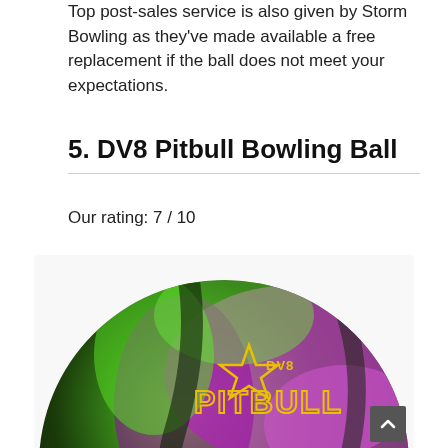Top post-sales service is also given by Storm Bowling as they've made available a free replacement if the ball does not meet your expectations.
5. DV8 Pitbull Bowling Ball
Our rating: 7 / 10
[Figure (photo): DV8 Pitbull bowling ball with green, purple, and black swirling color pattern. The ball has yellow outlined text reading 'DV8 PITBULL' with a star logo on its surface.]